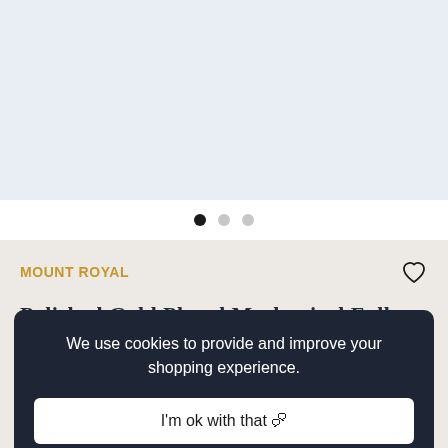[Figure (photo): Light blue-grey product image area (image slider area, currently showing empty/light background)]
[Figure (other): Carousel dots indicator: three dots, first dot is black (active), second and third are light grey (inactive)]
MOUNT ROYAL
Polished Gold Plated Mechanical Full Hunter Pocket Watch
We use cookies to provide and improve your shopping experience.
I'm ok with that 🍪